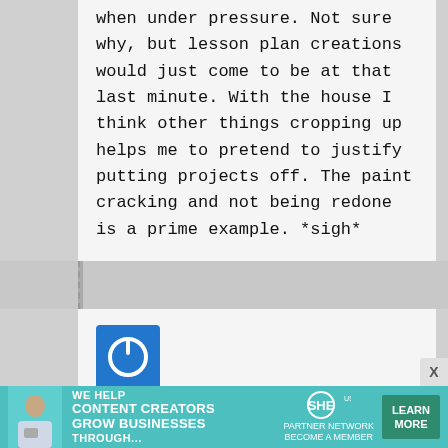when under pressure. Not sure why, but lesson plan creations would just come to be at that last minute. With the house I think other things cropping up helps me to pretend to justify putting projects off. The paint cracking and not being redone is a prime example. *sigh*
[Figure (logo): Blue square avatar with white power button icon]
chantal on April 13, 2012 at 8:50 am said:
OMG I have to say I am.. atleast 60% of the time. I get cauaht up in one thing or
[Figure (infographic): Advertisement banner: WE HELP CONTENT CREATORS GROW BUSINESSES THROUGH... SHE PARTNER NETWORK BECOME A MEMBER, LEARN MORE button]